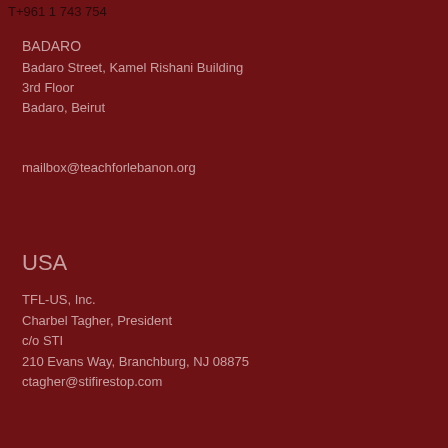T+961 1 743 754
BADARO
Badaro Street, Kamel Rishani Building
3rd Floor
Badaro, Beirut
mailbox@teachforlebanon.org
USA
TFL-US, Inc.
Charbel Tagher, President
c/o STI
210 Evans Way, Branchburg, NJ 08875
ctagher@stifirestop.com